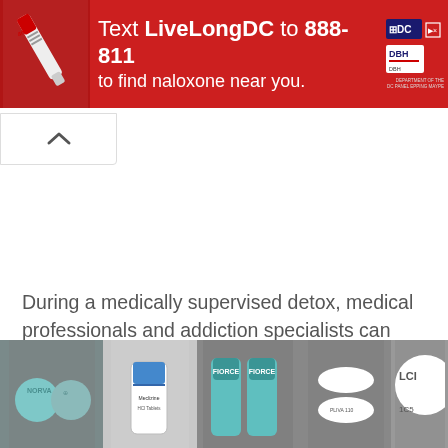[Figure (infographic): Red banner advertisement: Text LiveLongDC to 888-811 to find naloxone near you. Shows naloxone pen image on left, DC government and DBH logos on right.]
[Figure (other): Collapse/up-arrow button below the banner ad]
During a medically supervised detox, medical professionals and addiction specialists can help clients remain comfortable and then give them the tools and resources they need to begin on the path to recovery.
[Figure (photo): Strip of pill medication photos: blue round pills, white pill bottle, teal capsule bottles, white oval pills, white pill with LCI marking]